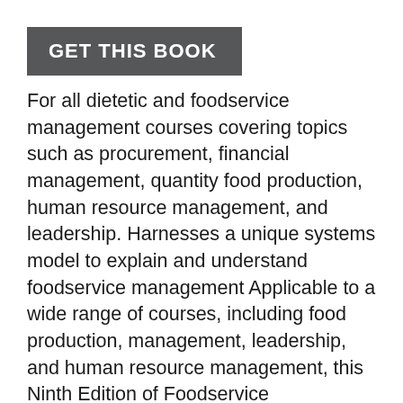GET THIS BOOK
For all dietetic and foodservice management courses covering topics such as procurement, financial management, quantity food production, human resource management, and leadership. Harnesses a unique systems model to explain and understand foodservice management Applicable to a wide range of courses, including food production, management, leadership, and human resource management, this Ninth Edition of Foodservice Organizations: A Managerial and Systems Approach continues to use its unique system model as a guiding framework for understanding foodservice